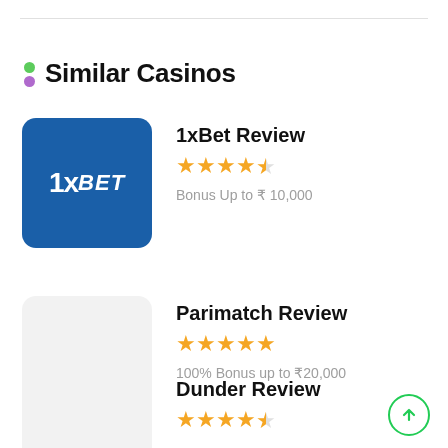Similar Casinos
[Figure (other): 1xBet logo — blue rounded square with '1xBET' text in white]
1xBet Review — 4.5 stars — Bonus Up to ₹10,000
Parimatch Review — 5 stars — 100% Bonus up to ₹20,000
Dunder Review — 4.5 stars